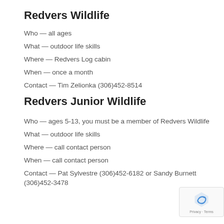Redvers Wildlife
Who — all ages
What — outdoor life skills
Where — Redvers Log cabin
When — once a month
Contact — Tim Zelionka (306)452-8514
Redvers Junior Wildlife
Who — ages 5-13, you must be a member of Redvers Wildlife
What — outdoor life skills
Where — call contact person
When — call contact person
Contact — Pat Sylvestre (306)452-6182 or Sandy Burnett (306)452-3478